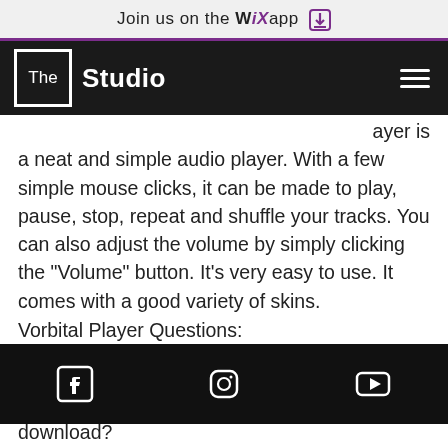Join us on the WiX app ↓
The Studio
ayer is a neat and simple audio player. With a few simple mouse clicks, it can be made to play, pause, stop, repeat and shuffle your tracks. You can also adjust the volume by simply clicking the "Volume" button. It's very easy to use. It comes with a good variety of skins.
Vorbital Player Questions:
What is the price of Vorbital Player?
Can I download Vorbital Player for free?
download?
[Facebook] [Instagram] [YouTube]